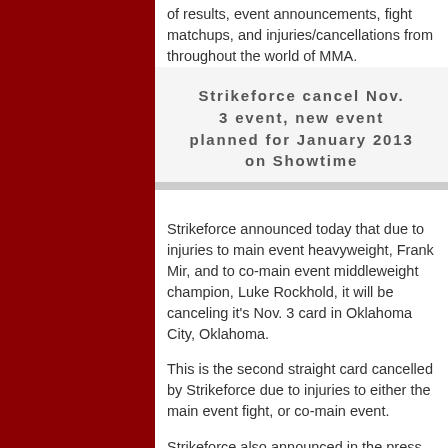of results, event announcements, fight matchups, and injuries/cancellations from throughout the world of MMA.
Strikeforce cancel Nov. 3 event, new event planned for January 2013 on Showtime
Strikeforce announced today that due to injuries to main event heavyweight, Frank Mir, and to co-main event middleweight champion, Luke Rockhold, it will be canceling it's Nov. 3 card in Oklahoma City, Oklahoma.
This is the second straight card cancelled by Strikeforce due to injuries to either the main event fight, or co-main event.
Strikeforce also announced in the press release obtained by The MMA Corner that they are planning an event for January 2013 to air on